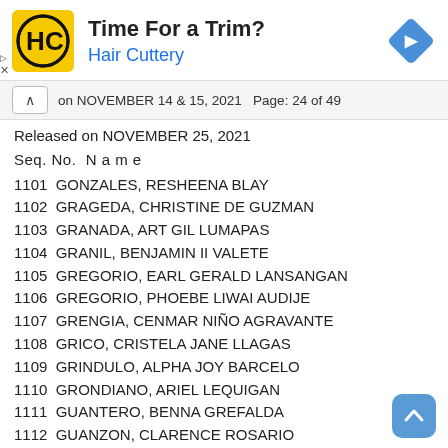[Figure (other): Hair Cuttery advertisement banner with logo, 'Time For a Trim?' heading, and navigation icon]
on NOVEMBER 14 & 15, 2021 Page: 24 of 49
Released on NOVEMBER 25, 2021
Seq. No.  N a m e
1101  GONZALES, RESHEENA BLAY
1102  GRAGEDA, CHRISTINE DE GUZMAN
1103  GRANADA, ART GIL LUMAPAS
1104  GRANIL, BENJAMIN II VALETE
1105  GREGORIO, EARL GERALD LANSANGAN
1106  GREGORIO, PHOEBE LIWAI AUDIJE
1107  GRENGIA, CENMAR NIÑO AGRAVANTE
1108  GRICO, CRISTELA JANE LLAGAS
1109  GRINDULO, ALPHA JOY BARCELO
1110  GRONDIANO, ARIEL LEQUIGAN
1111  GUANTERO, BENNA GREFALDA
1112  GUANZON, CLARENCE ROSARIO
1113  GUCOR, JHASON REY SABIOR